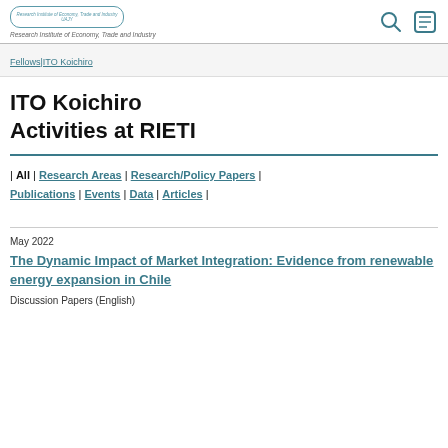Research Institute of Economy, Trade and Industry
Fellows|ITO Koichiro
ITO Koichiro
Activities at RIETI
| All | Research Areas | Research/Policy Papers | Publications | Events | Data | Articles |
May 2022
The Dynamic Impact of Market Integration: Evidence from renewable energy expansion in Chile
Discussion Papers (English)